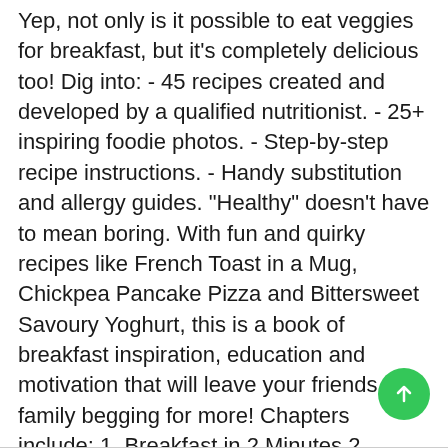Yep, not only is it possible to eat veggies for breakfast, but it's completely delicious too! Dig into: - 45 recipes created and developed by a qualified nutritionist. - 25+ inspiring foodie photos. - Step-by-step recipe instructions. - Handy substitution and allergy guides. "Healthy" doesn't have to mean boring. With fun and quirky recipes like French Toast in a Mug, Chickpea Pancake Pizza and Bittersweet Savoury Yoghurt, this is a book of breakfast inspiration, education and motivation that will leave your friends and family begging for more! Chapters include: 1. Breakfast in 2 Minutes 2. Toasties and Toast Toppers 3. Breakfast Using Dinner's Leftovers 4. Fun Savoury Things 5. Cafe Favourites 6. Sunday Cook-ups